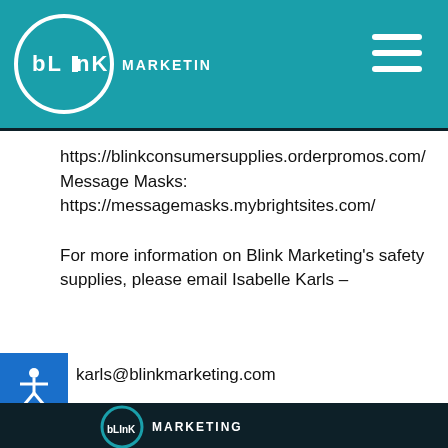[Figure (logo): Blink Marketing logo in header: circle with 'bLInK' text and 'MARKETING' beside it, on teal background]
https://blinkconsumersupplies.orderpromos.com/
Message Masks:
https://messagemasks.mybrightsites.com/

For more information on Blink Marketing's safety supplies, please email Isabelle Karls –
karls@blinkmarketing.com
[Figure (logo): Blink Marketing logo in dark footer: large circle with 'bLInK' text and 'MARKETING' wordmark on dark background]